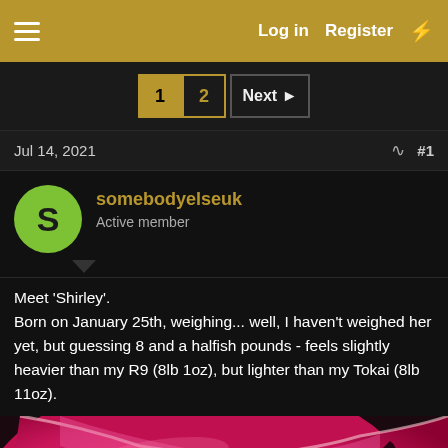Log in   Register
1  2  Next
Jul 14, 2021   #1
somebodyelseuk
Active member
Meet 'Shirley'.
Born on January 25th, weighing... well, I haven't weighed her yet, but guessing 8 and a halfish pounds - feels slightly heavier than my R9 (8lb 1oz), but lighter than my Tokai (8lb 11oz).
[Figure (photo): Close-up photo of a pink/magenta electric guitar body, likely a Gibson-style guitar, showing the curved body with binding and f-hole area visible.]